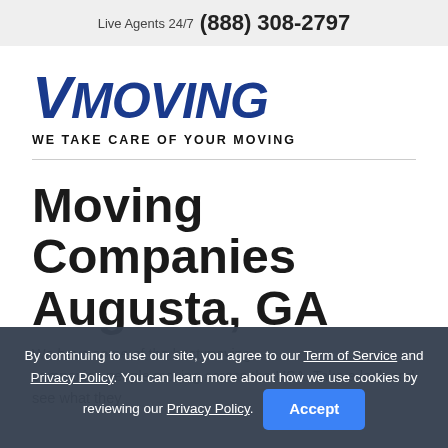Live Agents 24/7 (888) 308-2797
[Figure (logo): VMoving logo — large bold italic blue text 'VMOVING' with tagline 'WE TAKE CARE OF YOUR MOVING']
Moving Companies Augusta, GA
We have some of the best moving companies people moving across the USA. Take a look and see what they
By continuing to use our site, you agree to our Term of Service and Privacy Policy. You can learn more about how we use cookies by reviewing our Privacy Policy. Accept